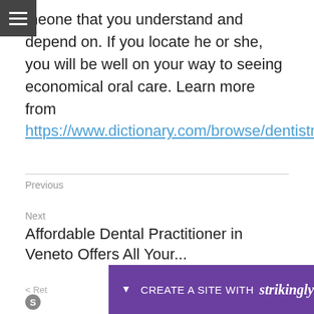meone that you understand and depend on. If you locate he or she, you will be well on your way to seeing economical oral care. Learn more from https://www.dictionary.com/browse/dentistry.
Previous
Next
Affordable Dental Practitioner in Veneto Offers All Your...
< Ret
CREATE A SITE WITH strikingly